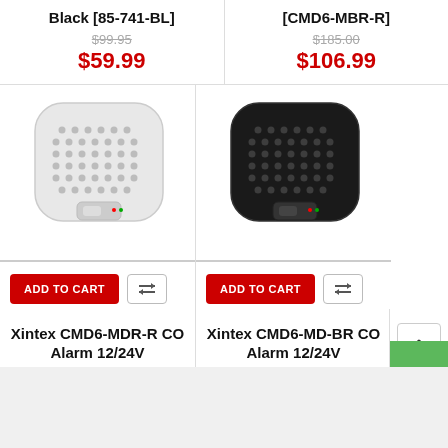Black [85-741-BL]
$99.95 (strikethrough)
$59.99
[CMD6-MBR-R]
$185.00 (strikethrough)
$106.99
[Figure (photo): White Xintex CMD6-MDR-R CO alarm device, rounded square shape with dot-pattern grille, viewed from above/front]
[Figure (photo): Black Xintex CMD6-MD-BR CO alarm device, rounded square shape with dot-pattern grille, viewed from above/front]
ADD TO CART
ADD TO CART
Xintex CMD6-MDR-R CO Alarm 12/24V
Xintex CMD6-MD-BR CO Alarm 12/24V